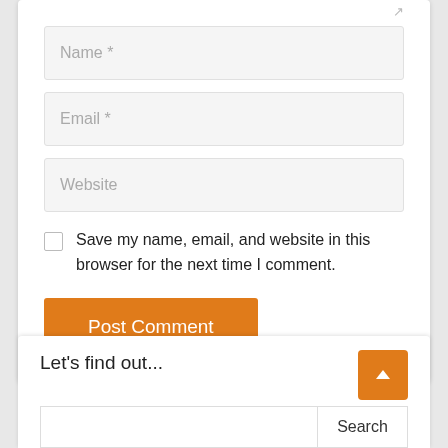[Figure (screenshot): Web comment form with Name, Email, Website input fields, a save-info checkbox, and a Post Comment button, followed by a search widget section titled 'Let's find out...' with a scroll-to-top button]
Name *
Email *
Website
Save my name, email, and website in this browser for the next time I comment.
Post Comment
Let's find out...
Search